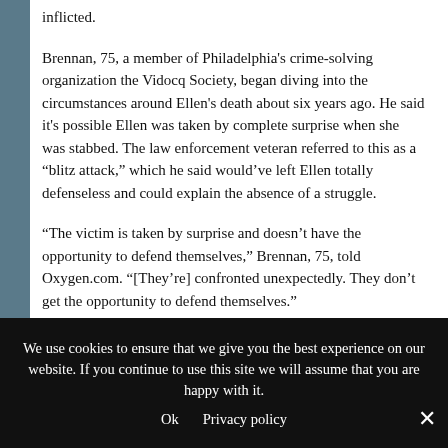inflicted.
Brennan, 75, a member of Philadelphia's crime-solving organization the Vidocq Society, began diving into the circumstances around Ellen's death about six years ago. He said it's possible Ellen was taken by complete surprise when she was stabbed. The law enforcement veteran referred to this as a “blitz attack,” which he said would've left Ellen totally defenseless and could explain the absence of a struggle.
“The victim is taken by surprise and doesn’t have the opportunity to defend themselves,” Brennan, 75, told Oxygen.com. “[They’re] confronted unexpectedly. They don’t get the opportunity to defend themselves.”
Brennan's sleuthing led him to forensic pathologist Wayne Ross, whom he hired to examine a fragment of Ellen’s spinal cord, which the medical examiner’s office was still in possession of. In 2017, Ross…
We use cookies to ensure that we give you the best experience on our website. If you continue to use this site we will assume that you are happy with it.
Ok   Privacy policy